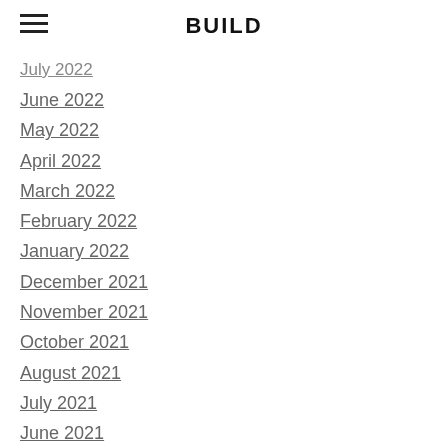BUILD
July 2022
June 2022
May 2022
April 2022
March 2022
February 2022
January 2022
December 2021
November 2021
October 2021
August 2021
July 2021
June 2021
May 2021
April 2021
March 2021
February 2021